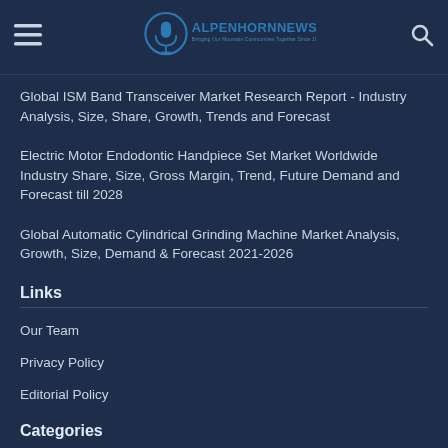ALPENHORNNEWS - Bringing Our Mountain Communities Together Since 1988
Global ISM Band Transceiver Market Research Report - Industry Analysis, Size, Share, Growth, Trends and Forecast
Electric Motor Endodontic Handpiece Set Market Worldwide Industry Share, Size, Gross Margin, Trend, Future Demand and Forecast till 2028
Global Automatic Cylindrical Grinding Machine Market Analysis, Growth, Size, Demand & Forecast 2021-2026
Links
Our Team
Privacy Policy
Editorial Policy
Categories